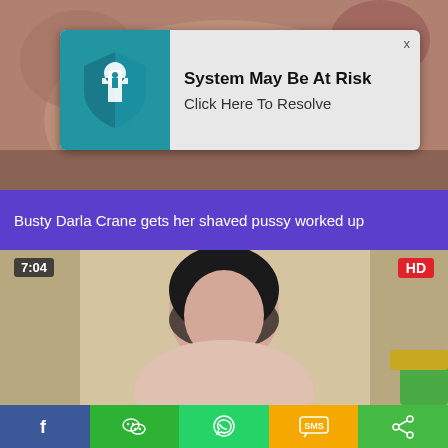[Figure (screenshot): Top video thumbnail showing adult content, partially obscured by a VPN security popup overlay]
[Figure (infographic): VPN popup ad: 'System May Be At Risk / Click Here To Resolve' with blue shield VPN icon and close button]
Busty Darla Crane gets her shaved pussy worked up
[Figure (screenshot): Video thumbnail showing a dark-haired woman, with 7:04 duration badge and HD badge]
[Figure (infographic): Social share bar with Facebook, WeChat, WhatsApp, SMS, and share icons]